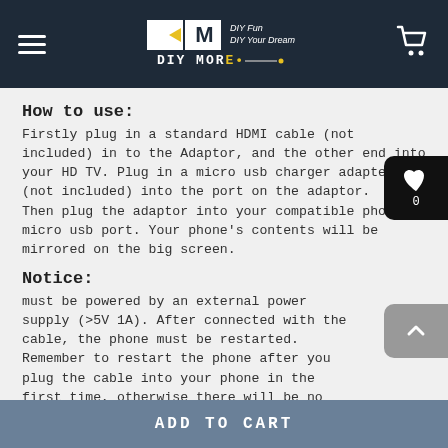DIY MORE — DIY Fun DIY Your Dream
How to use:
Firstly plug in a standard HDMI cable (not included) in to the Adaptor, and the other end into your HD TV. Plug in a micro usb charger adapter (not included) into the port on the adaptor.
Then plug the adaptor into your compatible phone's micro usb port. Your phone's contents will be mirrored on the big screen.
Notice:
must be powered by an external power supply (>5V 1A). After connected with the cable, the phone must be restarted. Remember to restart the phone after you plug the cable into your phone in the first time, otherwise there will be no HDMI output. If you flash a ROM on your phone, it might not support output
ADD TO CART